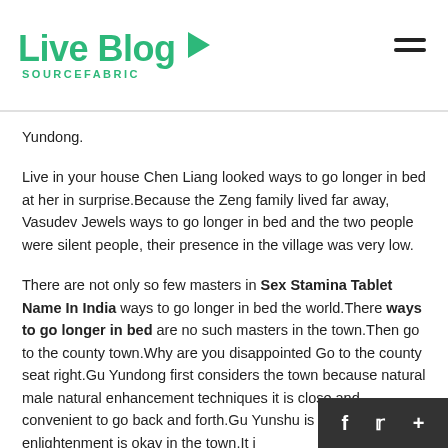Live Blog SOURCEFABRIC
Yundong.
Live in your house Chen Liang looked ways to go longer in bed at her in surprise.Because the Zeng family lived far away, Vasudev Jewels ways to go longer in bed and the two people were silent people, their presence in the village was very low.
There are not only so few masters in Sex Stamina Tablet Name In India ways to go longer in bed the world.There ways to go longer in bed are no such masters in the town.Then go to the county town.Why are you disappointed Go to the county seat right.Gu Yundong first considers the town because natural male natural enhancement techniques it is close and convenient to go back and forth.Gu Yunshu is young, but enlightenment is okay in the town.It i